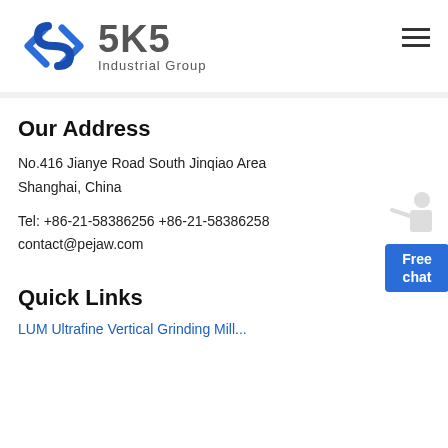[Figure (logo): SKS Industrial Group logo with blue diamond/arrow icon and grey SKS text with 'Industrial Group' tagline]
Our Address
No.416 Jianye Road South Jinqiao Area
Shanghai, China
Tel: +86-21-58386256 +86-21-58386258
contact@pejaw.com
Quick Links
LUM Ultrafine Vertical Grinding Mill...